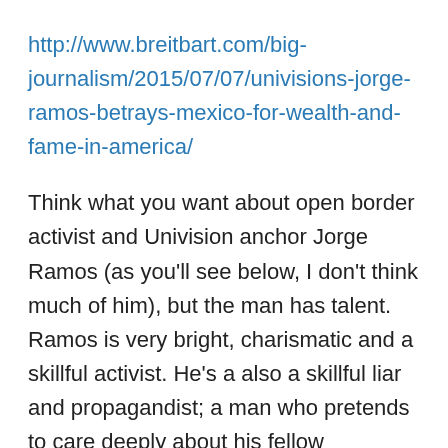http://www.breitbart.com/big-journalism/2015/07/07/univisions-jorge-ramos-betrays-mexico-for-wealth-and-fame-in-america/
Think what you want about open border activist and Univision anchor Jorge Ramos (as you'll see below, I don't think much of him), but the man has talent. Ramos is very bright, charismatic and a skillful activist. He's a also a skillful liar and propagandist; a man who pretends to care deeply about his fellow Mexicans, when the truth is that in exchange for fame, wealth and political power, Ramos abandoned over 120 million of them.
According to his own biography, the 57 year-old